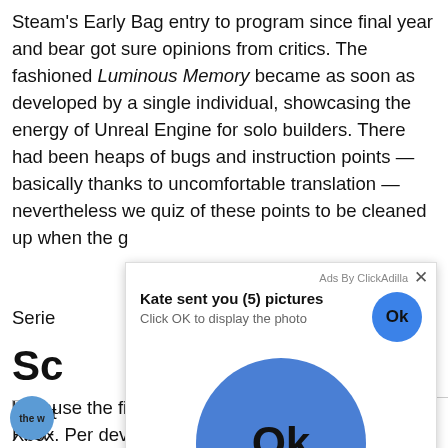Steam's Early Bag entry to program since final year and bear got sure opinions from critics. The fashioned Luminous Memory became as soon as developed by a single individual, showcasing the energy of Unreal Engine for solo builders. There had been heaps of bugs and instruction points — basically thanks to uncomfortable translation — nevertheless we quiz of these points to be cleaned up when the g
Serie
[Figure (screenshot): Ad overlay popup from ClickAdilla: 'Kate sent you (5) pictures — Click OK to display the photo' with a large blue Ok button circle and a smaller Ok button top right]
Sc
[Figure (photo): Broken image placeholder]
First- [partially obscured by ad] into a nig
the w
because the final apprehension ride on Xbox. Per developer